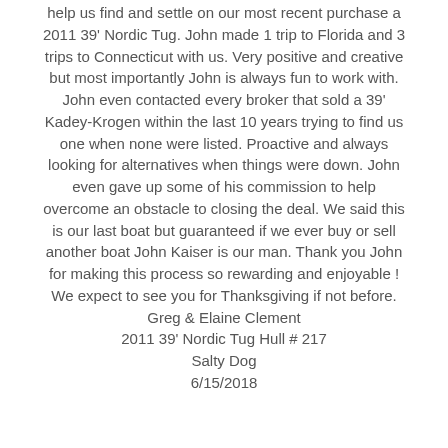help us find and settle on our most recent purchase a 2011 39' Nordic Tug. John made 1 trip to Florida and 3 trips to Connecticut with us. Very positive and creative but most importantly John is always fun to work with. John even contacted every broker that sold a 39' Kadey-Krogen within the last 10 years trying to find us one when none were listed. Proactive and always looking for alternatives when things were down. John even gave up some of his commission to help overcome an obstacle to closing the deal. We said this is our last boat but guaranteed if we ever buy or sell another boat John Kaiser is our man. Thank you John for making this process so rewarding and enjoyable ! We expect to see you for Thanksgiving if not before. Greg & Elaine Clement 2011 39' Nordic Tug Hull # 217 Salty Dog 6/15/2018